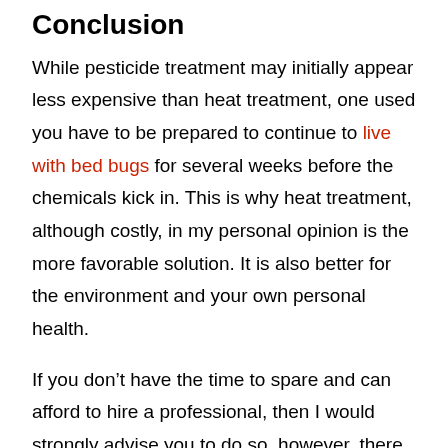Conclusion
While pesticide treatment may initially appear less expensive than heat treatment, one used you have to be prepared to continue to live with bed bugs for several weeks before the chemicals kick in. This is why heat treatment, although costly, in my personal opinion is the more favorable solution. It is also better for the environment and your own personal health.
If you don’t have the time to spare and can afford to hire a professional, then I would strongly advise you to do so, however, there are plenty of great off-the-shelf heating units that are now available to buy. Bed bug heat treatment is a quick way to eradicate these pesky pests for good and although an expensive outlay,